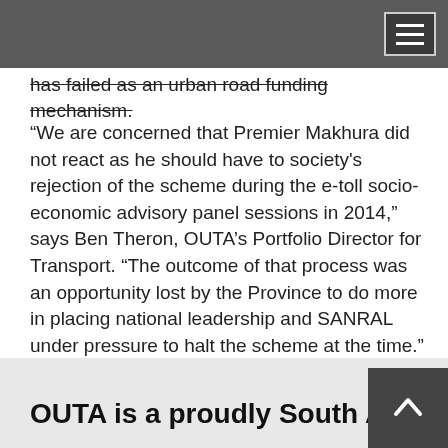has failed as an urban road funding mechanism.
“We are concerned that Premier Makhura did not react as he should have to society's rejection of the scheme during the e-toll socio-economic advisory panel sessions in 2014,” says Ben Theron, OUTA’s Portfolio Director for Transport. “The outcome of that process was an opportunity lost by the Province to do more in placing national leadership and SANRAL under pressure to halt the scheme at the time.”
OUTA remains committed to ending this unjust system and encourages the public to continue to support the battle against the abuse of power by State Owned Entities.
OUTA is a proudly South African civil